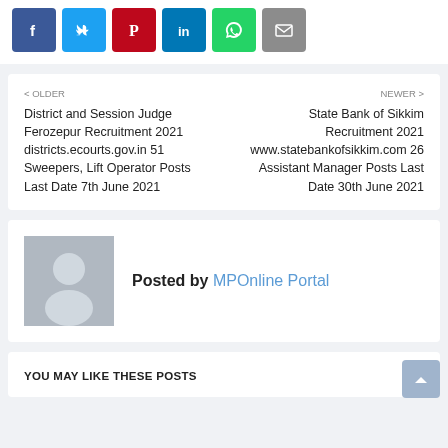[Figure (other): Social media share buttons: Facebook, Twitter, Pinterest, LinkedIn, WhatsApp, Email]
< OLDER
District and Session Judge Ferozepur Recruitment 2021 districts.ecourts.gov.in 51 Sweepers, Lift Operator Posts Last Date 7th June 2021
NEWER >
State Bank of Sikkim Recruitment 2021 www.statebankofsikkim.com 26 Assistant Manager Posts Last Date 30th June 2021
Posted by MPOnline Portal
YOU MAY LIKE THESE POSTS